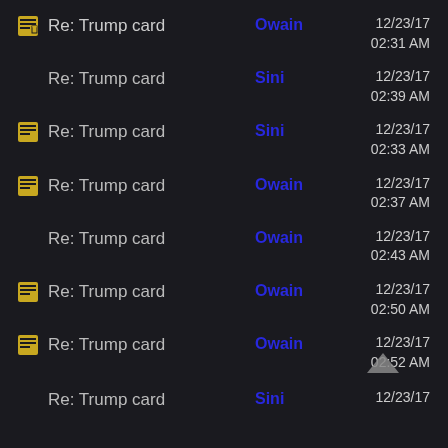Re: Trump card | Owain | 12/23/17 02:31 AM
Re: Trump card | Sini | 12/23/17 02:39 AM
Re: Trump card | Sini | 12/23/17 02:33 AM
Re: Trump card | Owain | 12/23/17 02:37 AM
Re: Trump card | Owain | 12/23/17 02:43 AM
Re: Trump card | Owain | 12/23/17 02:50 AM
Re: Trump card | Owain | 12/23/17 02:52 AM
Re: Trump card | Sini | 12/23/17